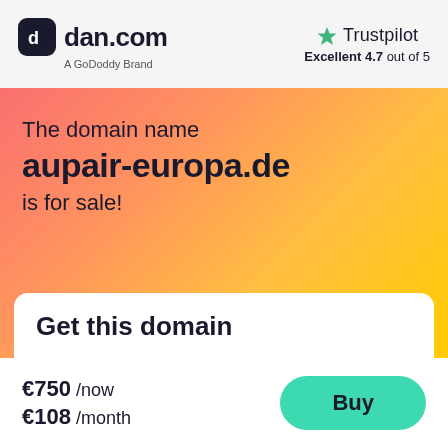[Figure (logo): dan.com logo with dark rounded square icon and text 'dan.com', subtitle 'A GoDoddy Brand']
[Figure (logo): Trustpilot logo with green star, text 'Trustpilot', rating 'Excellent 4.7 out of 5']
The domain name
aupair-europa.de
is for sale!
Get this domain
€750 /now
€108 /month
Buy